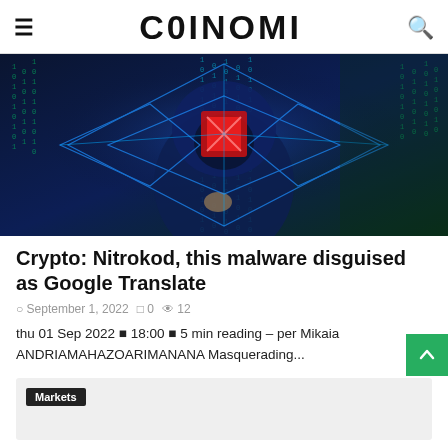COINOMI
[Figure (photo): Stylized digital illustration of a hooded figure with a glowing red cube in the center of the head, surrounded by blue geometric diamond wireframe shapes and green binary/matrix code waterfalls, dark blue background with a computer monitor suggesting hacking or cybersecurity threat.]
Crypto: Nitrokod, this malware disguised as Google Translate
September 1, 2022  0  12
thu 01 Sep 2022 ▪ 18:00 ▪ 5 min reading – per Mikaia ANDRIAMAHAZOARIMANANA Masquerading...
Markets